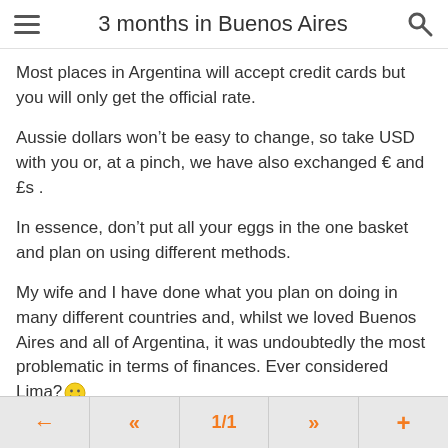3 months in Buenos Aires
Most places in Argentina will accept credit cards but you will only get the official rate.
Aussie dollars won't be easy to change, so take USD with you or, at a pinch, we have also exchanged € and £s .
In essence, don't put all your eggs in the one basket and plan on using different methods.
My wife and I have done what you plan on doing in many different countries and, whilst we loved Buenos Aires and all of Argentina, it was undoubtedly the most problematic in terms of finances. Ever considered Lima? 🙂
← « 1/1 » +